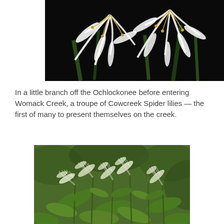[Figure (photo): Close-up photograph of white spider lily flowers (Cowcreek Spider lilies) with long white petals and stamens, against a dark background.]
In a little branch off the Ochlockonee before entering Womack Creek, a troupe of Cowcreek Spider lilies — the first of many to present themselves on the creek.
[Figure (photo): Photograph of green leafy plants with fuzzy white cattail-like flower spikes, growing in a wooded area.]